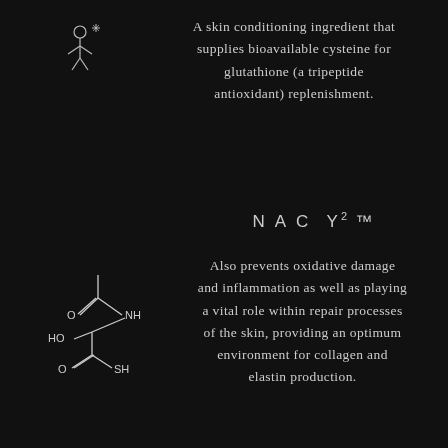[Figure (illustration): Decorative icon of a person/figure with sparkle, top-left area]
A skin conditioning ingredient that supplies bioavailable cysteine for glutathione (a tripeptide antioxidant) replenishment.
[Figure (schematic): Chemical structure diagram of N-Acetyl Cysteine (NAC) showing HO, O, NH, SH groups]
NAC Y2™
Also prevents oxidative damage and inflammation as well as playing a vital role within repair processes of the skin, providing an optimum environment for collagen and elastin production.